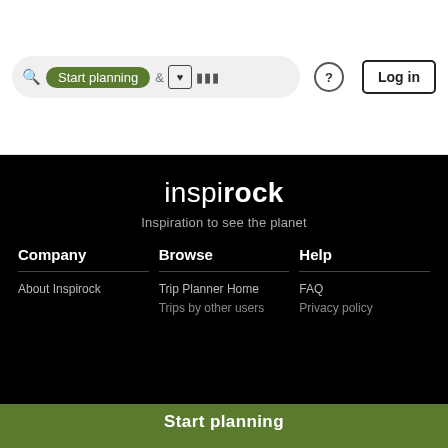[Figure (screenshot): Website navigation bar with search field showing 'Start planning' green button, heart icon, grid icon, question mark icon, and Log in button]
inspirock
Inspiration to see the planet
Company
Browse
Help
About Inspirock
Trip Planner Home
FAQ
Trips by other users
Privacy policy
Start planning